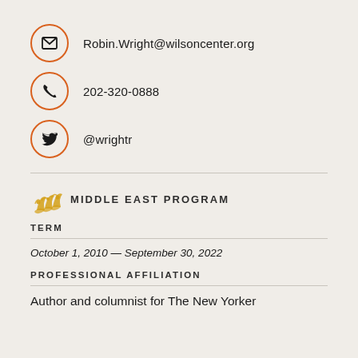Robin.Wright@wilsoncenter.org
202-320-0888
@wrightr
MIDDLE EAST PROGRAM
TERM
October 1, 2010 — September 30, 2022
PROFESSIONAL AFFILIATION
Author and columnist for The New Yorker